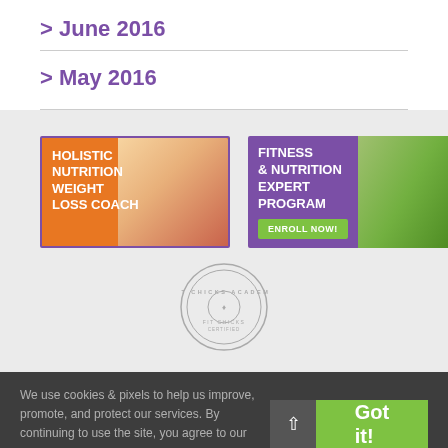> June 2016
> May 2016
[Figure (illustration): Advertisement banner: Holistic Nutrition Weight Loss Coach - orange background with smoothie image]
[Figure (illustration): Advertisement banner: Fitness & Nutrition Expert Program - purple background with fitness people image and green Enroll Now button]
[Figure (logo): Fit Chicks Academy circular logo/stamp in gray]
We use cookies & pixels to help us improve, promote, and protect our services. By continuing to use the site, you agree to our Privacy Policy
Got it!